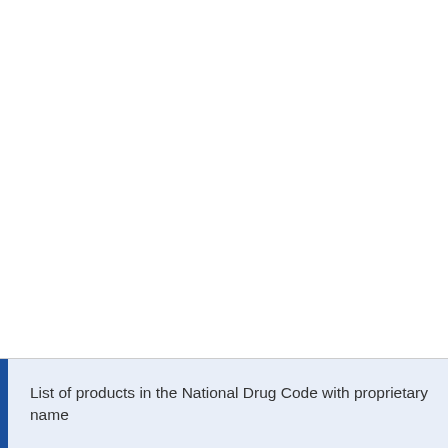List of products in the National Drug Code with proprietary name